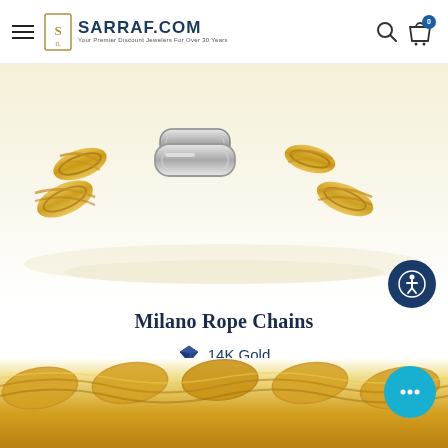SARRAF.COM — Your Premier Discount Jewelers For Over 30 Years
[Figure (photo): Close-up photo of a Milano Rope Chain necklace showing interlocking gold and silver/white gold chain links with rope and paperclip style links on a light background with reflection]
Milano Rope Chains
14K Gold